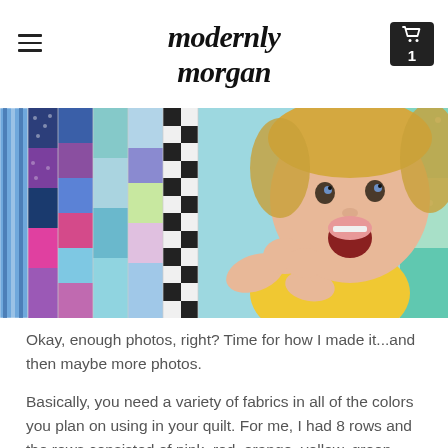modernly morgan
[Figure (photo): A toddler in a yellow outfit lying on a colorful patchwork quilt with pink, purple, blue, teal, and green fabric squares, mouth open in excitement.]
Okay, enough photos, right?  Time for how I made it...and then maybe more photos.
Basically, you need a variety of fabrics in all of the colors you plan on using in your quilt.  For me, I had 8 rows and the rows consisted of pink, red, orange, yellow, green, turquoise, blue and purple fabrics.